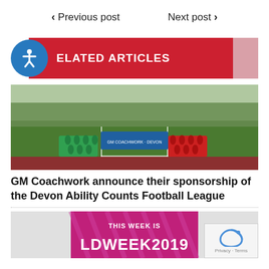< Previous post    Next post >
RELATED ARTICLES
[Figure (photo): Two football teams posing on a pitch in front of a sponsor banner]
GM Coachwork announce their sponsorship of the Devon Ability Counts Football League
[Figure (photo): Banner reading THIS WEEK IS LDWEEK2019 in pink/magenta colours]